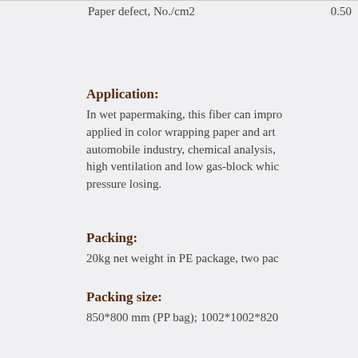| Paper defect, No./cm2 | 0.50 |
Application:
In wet papermaking, this fiber can improve applied in color wrapping paper and art automobile industry, chemical analysis, high ventilation and low gas-block which pressure losing.
Packing:
20kg net weight in PE package, two pac
Packing size:
850*800 mm (PP bag); 1002*1002*820
Storage:
Separately stored in dry, ventilated ware types, grade and lot no. Use it immediate influence dispersibility of the product.